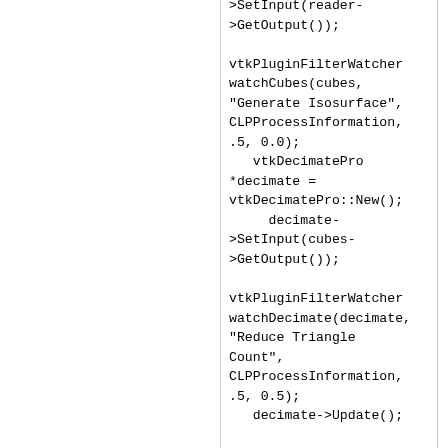>SetInput(reader-
>GetOutput());

vtkPluginFilterWatcher
watchCubes(cubes,
"Generate Isosurface",
CLPProcessInformation,
.5, 0.0);
   vtkDecimatePro
*decimate =
vtkDecimatePro::New();
     decimate-
>SetInput(cubes-
>GetOutput());

vtkPluginFilterWatcher
watchDecimate(decimate,
"Reduce Triangle
Count",
CLPProcessInformation,
.5, 0.5);
  decimate->Update();
The following example produces progress for a simple itk program: